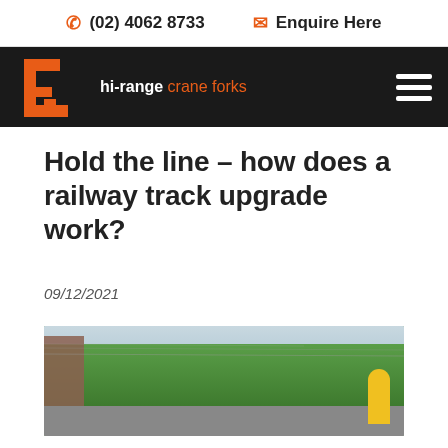(02) 4062 8733  Enquire Here
[Figure (logo): Hi-range Crane Forks logo on black navigation bar with hamburger menu icon]
Hold the line – how does a railway track upgrade work?
09/12/2021
[Figure (photo): Street scene with trams, trees lining an urban road, and a yellow bollard/post on the right side]